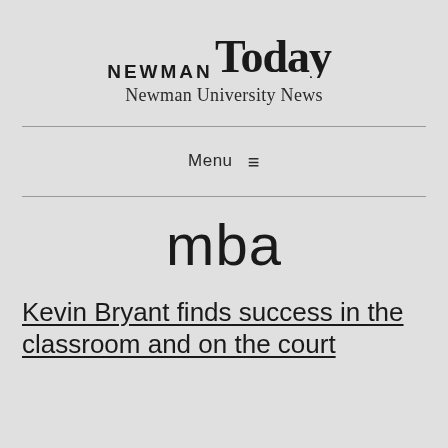NEWMAN Today — Newman University News
Menu ☰
mba
Kevin Bryant finds success in the classroom and on the court